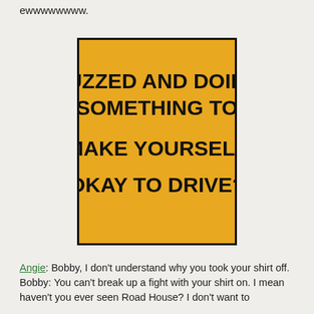ewwwwwwww.
[Figure (infographic): Gold/yellow square with thick black border containing bold black text: BUZZED AND DOING SOMETHING TO MAKE YOURSELF OKAY TO DRIVE?]
Angie: Bobby, I don't understand why you took your shirt off.
Bobby: You can't break up a fight with your shirt on. I mean haven't you ever seen Road House? I don't want to